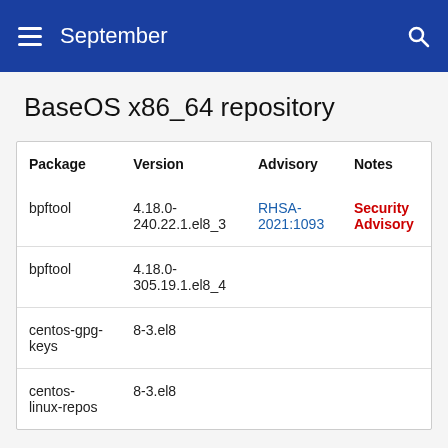September
BaseOS x86_64 repository
| Package | Version | Advisory | Notes |
| --- | --- | --- | --- |
| bpftool | 4.18.0-240.22.1.el8_3 | RHSA-2021:1093 | Security Advisory |
| bpftool | 4.18.0-305.19.1.el8_4 |  |  |
| centos-gpg-keys | 8-3.el8 |  |  |
| centos-linux-repos | 8-3.el8 |  |  |